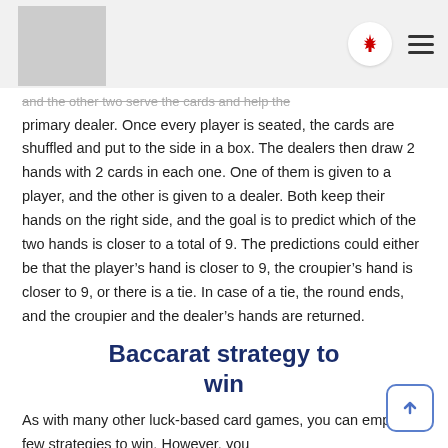[Logo placeholder] [Canadian maple leaf icon] [Hamburger menu]
and the other two serve the cards and help the primary dealer. Once every player is seated, the cards are shuffled and put to the side in a box. The dealers then draw 2 hands with 2 cards in each one. One of them is given to a player, and the other is given to a dealer. Both keep their hands on the right side, and the goal is to predict which of the two hands is closer to a total of 9. The predictions could either be that the player's hand is closer to 9, the croupier's hand is closer to 9, or there is a tie. In case of a tie, the round ends, and the croupier and the dealer's hands are returned.
Baccarat strategy to win
As with many other luck-based card games, you can employ a few strategies to win. However, you